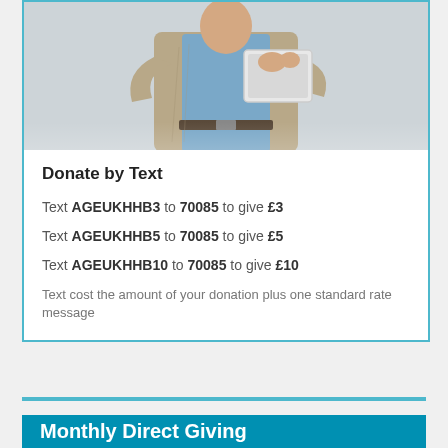[Figure (photo): Older man in beige cardigan and blue shirt holding a tablet device, viewed from below chest up, light grey background]
Donate by Text
Text AGEUKHHB3 to 70085 to give £3
Text AGEUKHHB5 to 70085 to give £5
Text AGEUKHHB10 to 70085 to give £10
Text cost the amount of your donation plus one standard rate message
Monthly Direct Giving